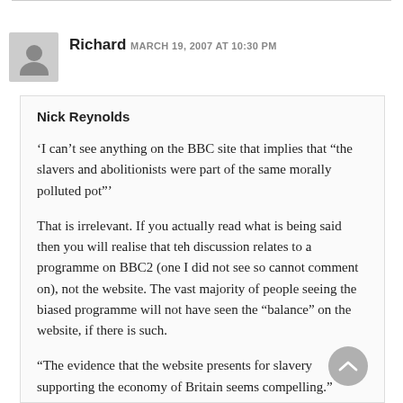Richard  MARCH 19, 2007 AT 10:30 PM
Nick Reynolds
‘I can’t see anything on the BBC site that implies that “the slavers and abolitionists were part of the same morally polluted pot”’
That is irrelevant. If you actually read what is being said then you will realise that teh discussion relates to a programme on BBC2 (one I did not see so cannot comment on), not the website. The vast majority of people seeing the biased programme will not have seen the “balance” on the website, if there is such.
“The evidence that the website presents for slavery supporting the economy of Britain seems compelling.”
The whole point of this site, and specifically this thread, is that we cannot trust the BBC to be impartial, so you